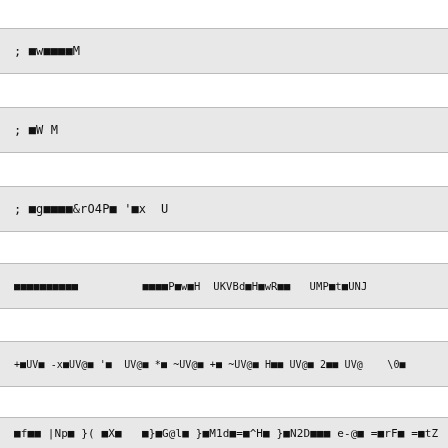; w    M
; W M
; g    &rO4P  ' x  U
P w H  UKVBd H wR    UMP t UNJ
+ UV  -x UV@  '   UV@  *  ~UV@  +  ~UV@  H   UV@  2   UV@    \0
N 8
3t
f   |Np }( X    } G@l } M1d = ^H } N2D    e-@  = rF  = tZ